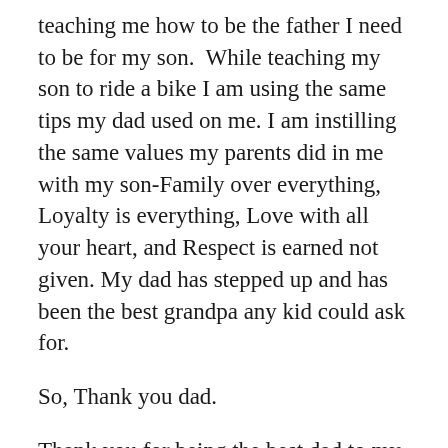teaching me how to be the father I need to be for my son.  While teaching my son to ride a bike I am using the same tips my dad used on me. I am instilling the same values my parents did in me with my son-Family over everything, Loyalty is everything, Love with all your heart, and Respect is earned not given. My dad has stepped up and has been the best grandpa any kid could ask for.
So, Thank you dad.
Thank you for being the best dad to my sisters and I. And being the best husband to mom.
Thank you for not only teaching me how to be